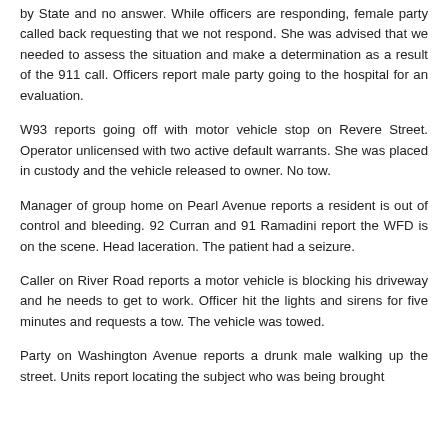by State and no answer. While officers are responding, female party called back requesting that we not respond. She was advised that we needed to assess the situation and make a determination as a result of the 911 call. Officers report male party going to the hospital for an evaluation.
W93 reports going off with motor vehicle stop on Revere Street. Operator unlicensed with two active default warrants. She was placed in custody and the vehicle released to owner. No tow.
Manager of group home on Pearl Avenue reports a resident is out of control and bleeding. 92 Curran and 91 Ramadini report the WFD is on the scene. Head laceration. The patient had a seizure.
Caller on River Road reports a motor vehicle is blocking his driveway and he needs to get to work. Officer hit the lights and sirens for five minutes and requests a tow. The vehicle was towed.
Party on Washington Avenue reports a drunk male walking up the street. Units report locating the subject who was being brought